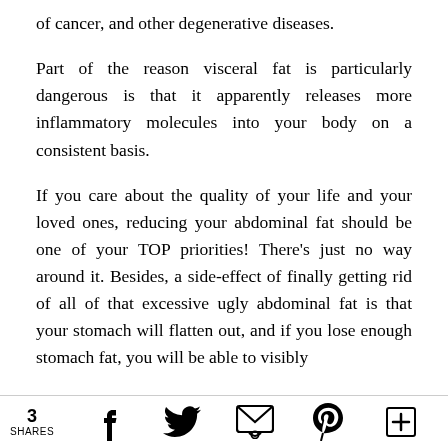of cancer, and other degenerative diseases.
Part of the reason visceral fat is particularly dangerous is that it apparently releases more inflammatory molecules into your body on a consistent basis.
If you care about the quality of your life and your loved ones, reducing your abdominal fat should be one of your TOP priorities! There's just no way around it. Besides, a side-effect of finally getting rid of all of that excessive ugly abdominal fat is that your stomach will flatten out, and if you lose enough stomach fat, you will be able to visibly
3 SHARES  [facebook] [twitter] [email] [pinterest] [plus]